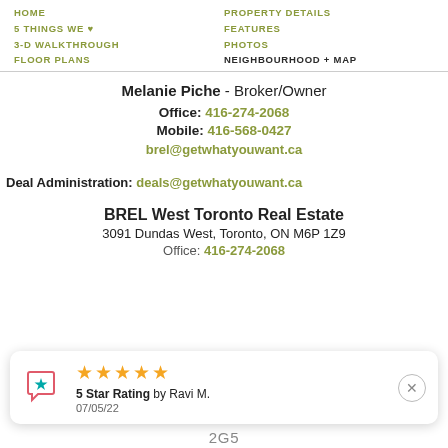HOME   PROPERTY DETAILS   5 THINGS WE ♥   FEATURES   3-D WALKTHROUGH   PHOTOS   FLOOR PLANS   NEIGHBOURHOOD + MAP
Melanie Piche - Broker/Owner
Office: 416-274-2068
Mobile: 416-568-0427
brel@getwhatyouwant.ca
Deal Administration: deals@getwhatyouwant.ca
BREL West Toronto Real Estate
3091 Dundas West, Toronto, ON M6P 1Z9
Office: 416-274-2068
5 Star Rating by Ravi M. 07/05/22
2G5